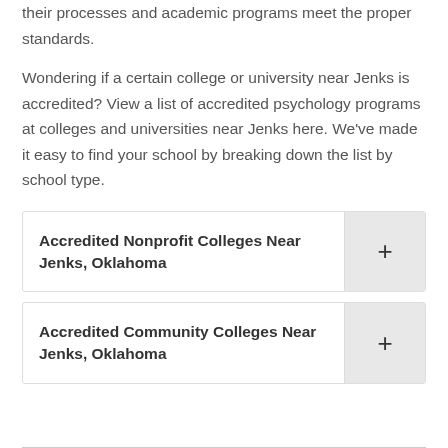their processes and academic programs meet the proper standards.
Wondering if a certain college or university near Jenks is accredited? View a list of accredited psychology programs at colleges and universities near Jenks here. We've made it easy to find your school by breaking down the list by school type.
Accredited Nonprofit Colleges Near Jenks, Oklahoma
Accredited Community Colleges Near Jenks, Oklahoma